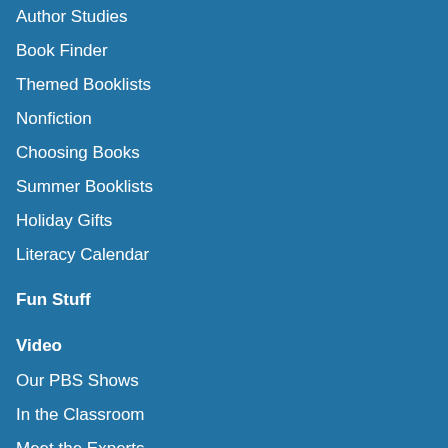Author Studies
Book Finder
Themed Booklists
Nonfiction
Choosing Books
Summer Booklists
Holiday Gifts
Literacy Calendar
Fun Stuff
Video
Our PBS Shows
In the Classroom
Meet the Experts
Webcasts